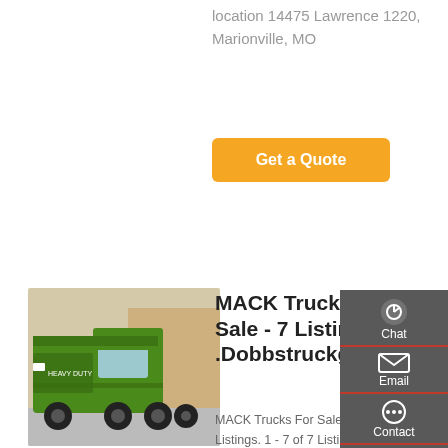location 14475 Lawrence 1220, Marionville, MO
Get a Quote
[Figure (photo): Green MACK dump truck parked outdoors]
MACK Trucks For Sale - 7 Listings | .Dobbstruckgroup.C
MACK Trucks For Sale 1 - 7 of 7 Listings. 1 - 7 of 7 Listings Listing Type and Auction Results. Show All. Category. Show All. Manufacturer - Applied. Show All. Model. Show All. Year- Dependability, durability and